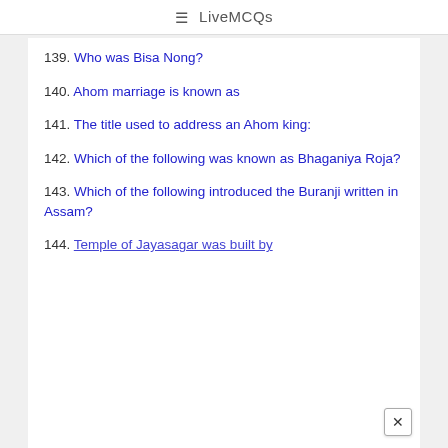≡ LiveMCQs
139. Who was Bisa Nong?
140. Ahom marriage is known as
141. The title used to address an Ahom king:
142. Which of the following was known as Bhaganiya Roja?
143. Which of the following introduced the Buranji written in Assam?
144. Temple of Jayasagar was built by